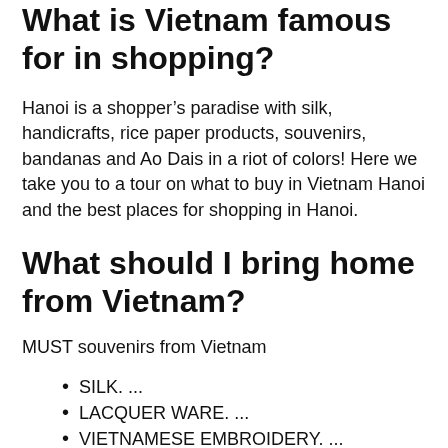What is Vietnam famous for in shopping?
Hanoi is a shopper’s paradise with silk, handicrafts, rice paper products, souvenirs, bandanas and Ao Dais in a riot of colors! Here we take you to a tour on what to buy in Vietnam Hanoi and the best places for shopping in Hanoi.
What should I bring home from Vietnam?
MUST souvenirs from Vietnam
SILK. ...
LACQUER WARE. ...
VIETNAMESE EMBROIDERY. ...